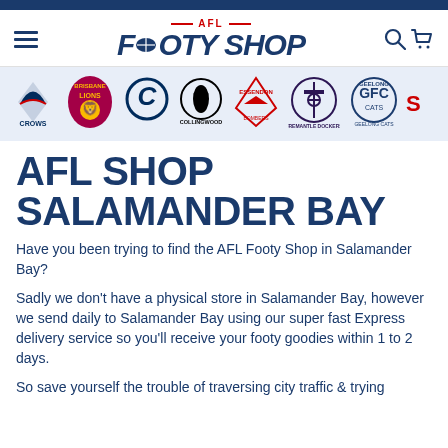[Figure (logo): AFL Footy Shop logo with hamburger menu and search/cart icons in header]
[Figure (infographic): Row of AFL team logos: Adelaide Crows, Brisbane Lions, Carlton, Collingwood, Essendon, Fremantle Dockers, Geelong Cats, and partial next team]
AFL SHOP SALAMANDER BAY
Have you been trying to find the AFL Footy Shop in Salamander Bay?
Sadly we don't have a physical store in Salamander Bay, however we send daily to Salamander Bay using our super fast Express delivery service so you'll receive your footy goodies within 1 to 2 days.
So save yourself the trouble of traversing city traffic & trying